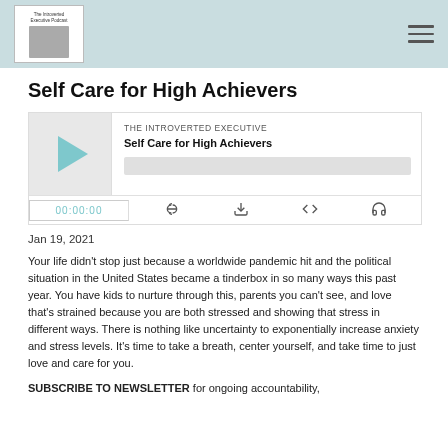The Introverted Executive Podcast
Self Care for High Achievers
[Figure (screenshot): Podcast player widget showing 'THE INTROVERTED EXECUTIVE' show name, episode title 'Self Care for High Achievers', play button, progress bar, time display 00:00:00, and control icons for RSS, download, embed, and headphones.]
Jan 19, 2021
Your life didn't stop just because a worldwide pandemic hit and the political situation in the United States became a tinderbox in so many ways this past year. You have kids to nurture through this, parents you can't see, and love that's strained because you are both stressed and showing that stress in different ways. There is nothing like uncertainty to exponentially increase anxiety and stress levels. It's time to take a breath, center yourself, and take time to just love and care for you.
SUBSCRIBE TO NEWSLETTER for ongoing accountability,